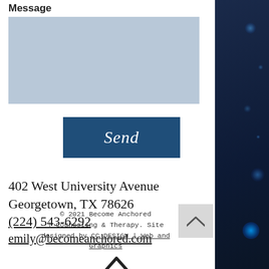Message
[Figure (screenshot): Message text input area — light blue/grey rectangle]
[Figure (screenshot): Send button — dark navy blue rectangle with italic script text 'Send' in white]
402 West University Avenue
Georgetown, TX 78626
(224) 543-6292
emily@becomeanchored.com
© 2021 Become Anchored | Counseling & Therapy. Site designed by CC DESIGN | Web and Graphics